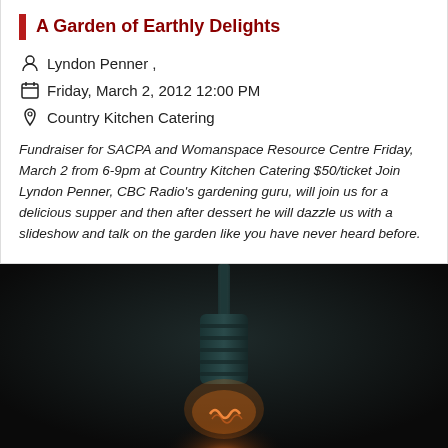A Garden of Earthly Delights
Lyndon Penner ,
Friday, March 2, 2012 12:00 PM
Country Kitchen Catering
Fundraiser for SACPA and Womanspace Resource Centre Friday, March 2 from 6-9pm at Country Kitchen Catering $50/ticket Join Lyndon Penner, CBC Radio's gardening guru, will join us for a delicious supper and then after dessert he will dazzle us with a slideshow and talk on the garden like you have never heard before.
[Figure (photo): Dark photograph of a vintage incandescent light bulb hanging against a very dark background, with warm orange glow visible in the filament area and teal/dark tones on the bulb socket.]